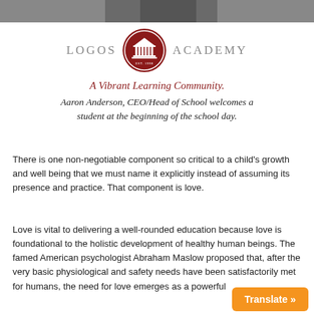[Figure (photo): Photo strip at top of page showing person, cropped]
[Figure (logo): Logos Academy logo with red circular emblem featuring a classical building/columns, flanked by 'LOGOS' and 'ACADEMY' text in gray, with 'EST. 1998' at bottom of emblem]
A Vibrant Learning Community.
Aaron Anderson, CEO/Head of School welcomes a student at the beginning of the school day.
There is one non-negotiable component so critical to a child's growth and well being that we must name it explicitly instead of assuming its presence and practice. That component is love.
Love is vital to delivering a well-rounded education because love is foundational to the holistic development of healthy human beings. The famed American psychologist Abraham Maslow proposed that, after the very basic physiological and safety needs have been satisfactorily met for humans, the need for love emerges as a powerful